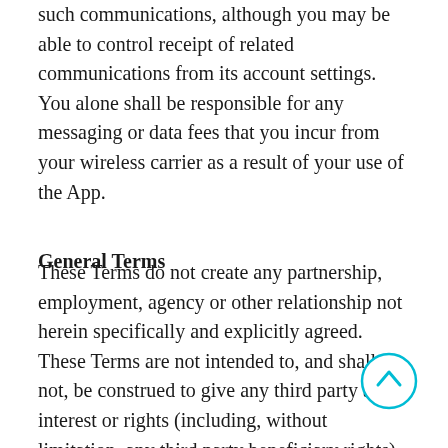such communications, although you may be able to control receipt of related communications from its account settings.  You alone shall be responsible for any messaging or data fees that you incur from your wireless carrier as a result of your use of the App.
General Terms
These Terms do not create any partnership, employment, agency or other relationship not herein specifically and explicitly agreed. These Terms are not intended to, and shall not, be construed to give any third party any interest or rights (including, without limitation, any third party beneficiary rights) with respect to, or in connection with, any
[Figure (other): Circular scroll-to-top button with cyan/teal border and upward chevron arrow]